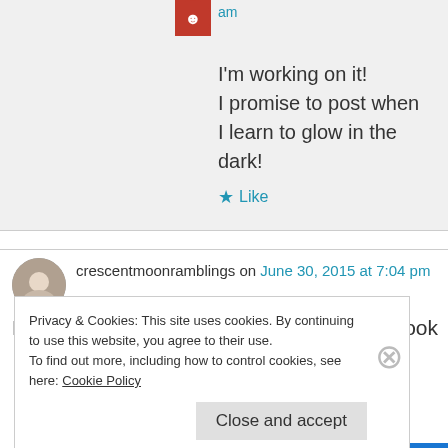I'm working on it!
I promise to post when I learn to glow in the dark!
Like
crescentmoonramblings on June 30, 2015 at 7:04 pm
Hi Patti, thanks for stopping by my blog. I look
Privacy & Cookies: This site uses cookies. By continuing to use this website, you agree to their use.
To find out more, including how to control cookies, see here: Cookie Policy
Close and accept